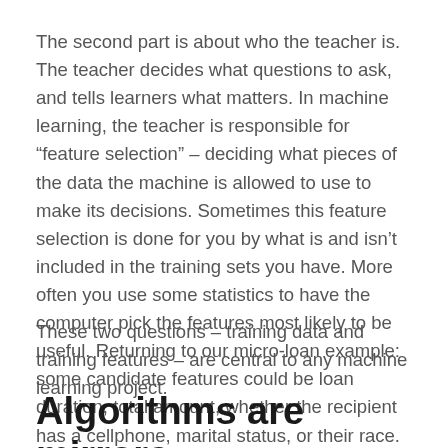The second part is about who the teacher is. The teacher decides what questions to ask, and tells learners what matters. In machine learning, the teacher is responsible for “feature selection” – deciding what pieces of the data the machine is allowed to use to make its decisions. Sometimes this feature selection is done for you by what is and isn’t included in the training sets you have. More often you use some statistics to have the computer pick the features most likely to be useful. Returning to our micro-loan example: some candidate features could be loan duration, total amount, whether the recipient has a cellphone, marital status, or their race.
These two questions – training data and training features – are central to any machine learning project.
Algorithms are mirrors